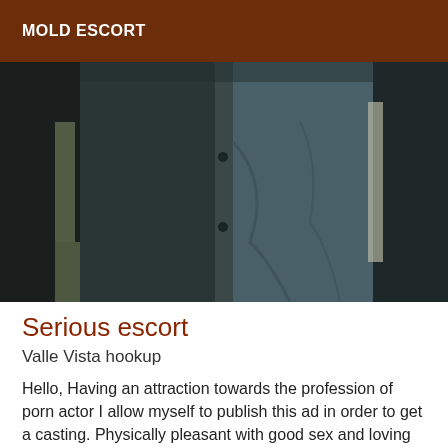MOLD ESCORT
[Figure (photo): Close-up photo of a person's torso wearing a dark button-up shirt, arms at sides, outdoor background visible at edges]
Serious escort
Valle Vista hookup
Hello, Having an attraction towards the profession of porn actor I allow myself to publish this ad in order to get a casting. Physically pleasant with good sex and loving being filmed making love. Motivated to give full